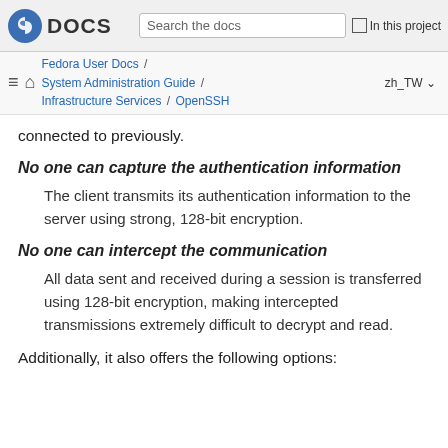Fedora DOCS | Search the docs | In this project
Fedora User Docs / System Administration Guide / Infrastructure Services / OpenSSH | zh_TW
connected to previously.
No one can capture the authentication information
The client transmits its authentication information to the server using strong, 128-bit encryption.
No one can intercept the communication
All data sent and received during a session is transferred using 128-bit encryption, making intercepted transmissions extremely difficult to decrypt and read.
Additionally, it also offers the following options: